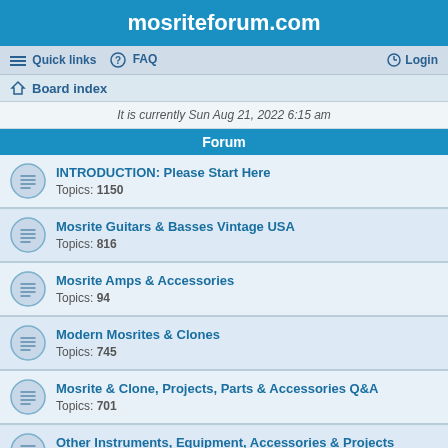mosriteforum.com
Quick links  FAQ  Login
Board index
It is currently Sun Aug 21, 2022 6:15 am
Forum
INTRODUCTION: Please Start Here
Topics: 1150
Mosrite Guitars & Basses Vintage USA
Topics: 816
Mosrite Amps & Accessories
Topics: 94
Modern Mosrites & Clones
Topics: 745
Mosrite & Clone, Projects, Parts & Accessories Q&A
Topics: 701
Other Instruments, Equipment, Accessories & Projects
Topics: 420
Amp Tech Q&A and Repair Shop
Topics: 55